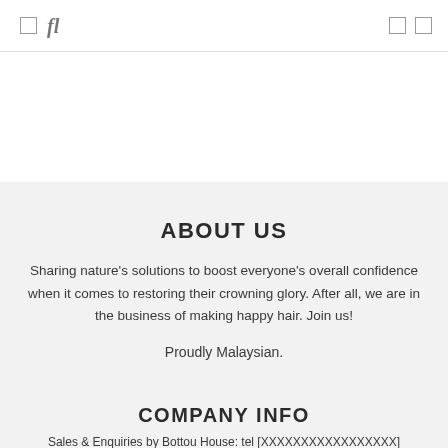□ fl □ □
ABOUT US
Sharing nature's solutions to boost everyone's overall confidence when it comes to restoring their crowning glory. After all, we are in the business of making happy hair. Join us!
Proudly Malaysian.
COMPANY INFO